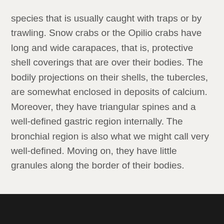species that is usually caught with traps or by trawling. Snow crabs or the Opilio crabs have long and wide carapaces, that is, protective shell coverings that are over their bodies. The bodily projections on their shells, the tubercles, are somewhat enclosed in deposits of calcium. Moreover, they have triangular spines and a well-defined gastric region internally. The bronchial region is also what we might call very well-defined. Moving on, they have little granules along the border of their bodies.